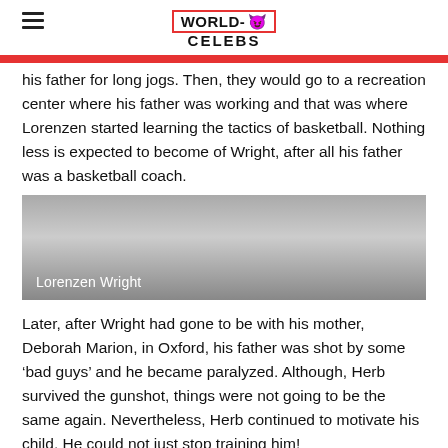WORLD-CELEBS
his father for long jogs. Then, they would go to a recreation center where his father was working and that was where Lorenzen started learning the tactics of basketball. Nothing less is expected to become of Wright, after all his father was a basketball coach.
[Figure (photo): Image of Lorenzen Wright with caption overlay at the bottom reading 'Lorenzen Wright']
Later, after Wright had gone to be with his mother, Deborah Marion, in Oxford, his father was shot by some ‘bad guys’ and he became paralyzed. Although, Herb survived the gunshot, things were not going to be the same again. Nevertheless, Herb continued to motivate his child. He could not just stop training him!